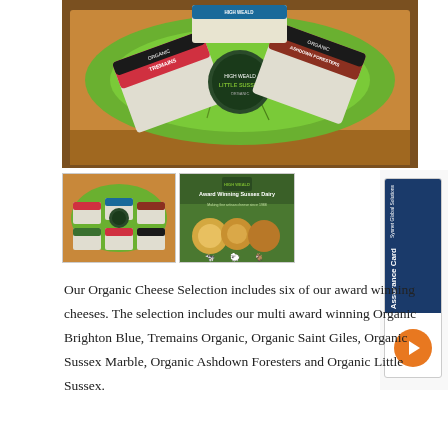[Figure (photo): A cardboard box filled with green crinkle paper and six packaged organic cheeses arranged around a central round cheese tin labeled 'Little Sussex'. Labels include Tremains Organic and Ashdown Foresters branding with cow imagery.]
[Figure (photo): Thumbnail photo showing multiple packaged organic cheeses arranged on green crinkle paper in a box.]
[Figure (photo): Thumbnail image with green background showing 'Award Winning Sussex Dairy' text and images of cheeses with animal icons.]
Our Organic Cheese Selection includes six of our award winning cheeses. The selection includes our multi award winning Organic Brighton Blue, Tremains Organic, Organic Saint Giles, Organic Sussex Marble, Organic Ashdown Foresters and Organic Little Sussex.